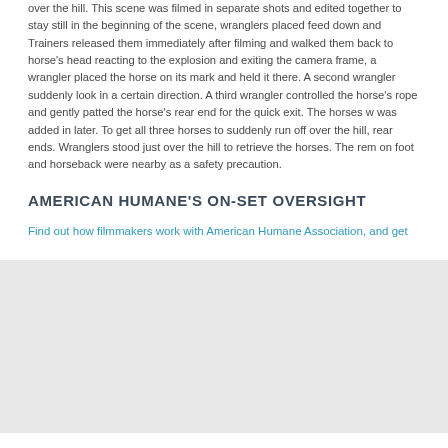over the hill. This scene was filmed in separate shots and edited together to stay still in the beginning of the scene, wranglers placed feed down and Trainers released them immediately after filming and walked them back to horse's head reacting to the explosion and exiting the camera frame, a wrangler placed the horse on its mark and held it there. A second wrangler suddenly look in a certain direction. A third wrangler controlled the horse's rope and gently patted the horse's rear end for the quick exit. The horses w was added in later. To get all three horses to suddenly run off over the hill, rear ends. Wranglers stood just over the hill to retrieve the horses. The rem on foot and horseback were nearby as a safety precaution.
AMERICAN HUMANE'S ON-SET OVERSIGHT
Find out how filmmakers work with American Humane Association, and get